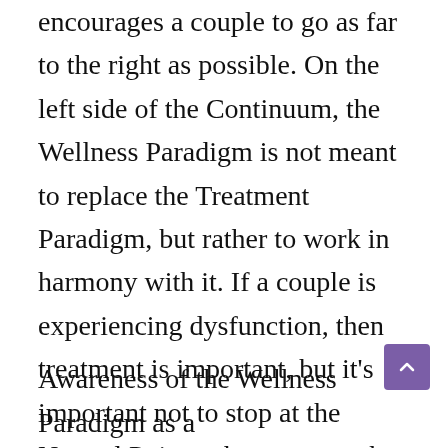encourages a couple to go as far to the right as possible. On the left side of the Continuum, the Wellness Paradigm is not meant to replace the Treatment Paradigm, but rather to work in harmony with it. If a couple is experiencing dysfunction, then treatment is important, but it's important not to stop at the Neutral Point—they can use the Wellness Paradigm to move toward higher levels of joy and wellness.
Awareness of the Wellness Paradigm as a